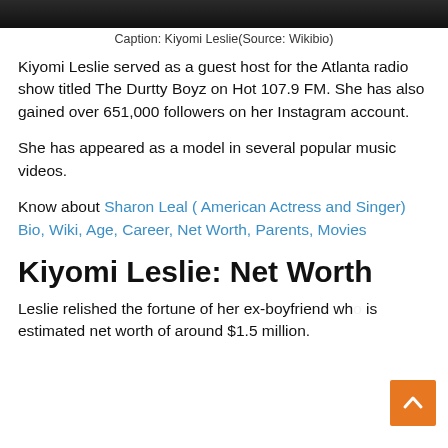[Figure (photo): Partial photo of Kiyomi Leslie at top of page]
Caption: Kiyomi Leslie(Source: Wikibio)
Kiyomi Leslie served as a guest host for the Atlanta radio show titled The Durtty Boyz on Hot 107.9 FM. She has also gained over 651,000 followers on her Instagram account.
She has appeared as a model in several popular music videos.
Know about Sharon Leal ( American Actress and Singer) Bio, Wiki, Age, Career, Net Worth, Parents, Movies
Kiyomi Leslie: Net Worth
Leslie relished the fortune of her ex-boyfriend wh is estimated net worth of around $1.5 million.